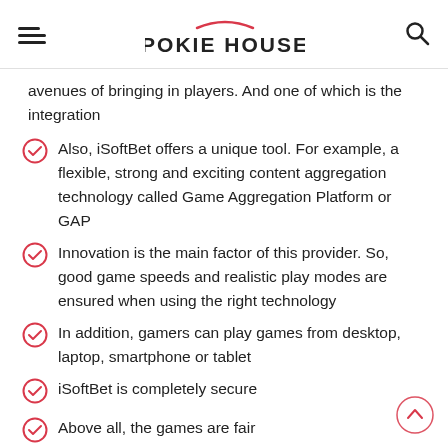POKIE HOUSE
avenues of bringing in players. And one of which is the integration
Also, iSoftBet offers a unique tool. For example, a flexible, strong and exciting content aggregation technology called Game Aggregation Platform or GAP
Innovation is the main factor of this provider. So, good game speeds and realistic play modes are ensured when using the right technology
In addition, gamers can play games from desktop, laptop, smartphone or tablet
iSoftBet is completely secure
Above all, the games are fair